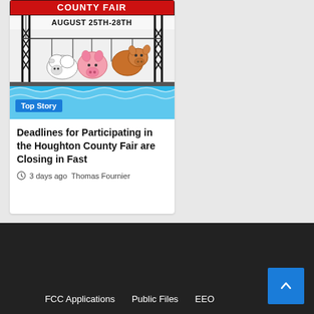[Figure (illustration): County Fair poster illustration showing cartoon farm animals (sheep, pig, cow) on a bridge structure with 'COUNTY FAIR AUGUST 25TH-28TH' text and blue water below]
Top Story
Deadlines for Participating in the Houghton County Fair are Closing in Fast
3 days ago  Thomas Fournier
FCC Applications   Public Files   EEO